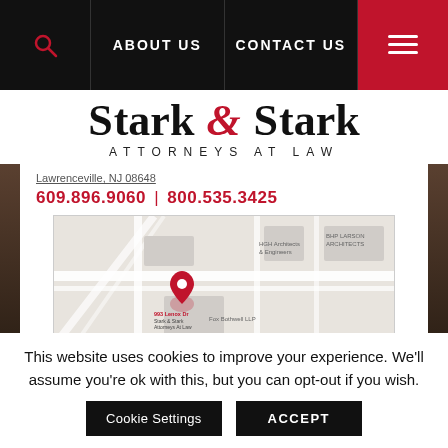ABOUT US | CONTACT US
Stark & Stark Attorneys at Law
Lawrenceville, NJ 08648
609.896.9060 | 800.535.3425
[Figure (map): Google Maps embed showing location of Stark & Stark law office with red pin marker, surrounding streets and nearby businesses visible]
This website uses cookies to improve your experience. We'll assume you're ok with this, but you can opt-out if you wish.
Cookie Settings | ACCEPT